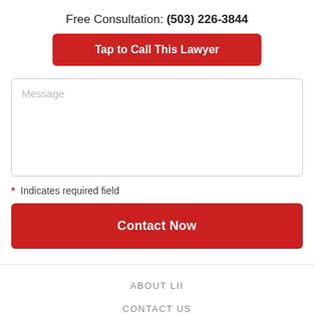Free Consultation: (503) 226-3844
Tap to Call This Lawyer
Message
* Indicates required field
Contact Now
ABOUT LII
CONTACT US
ADVERTISE HERE